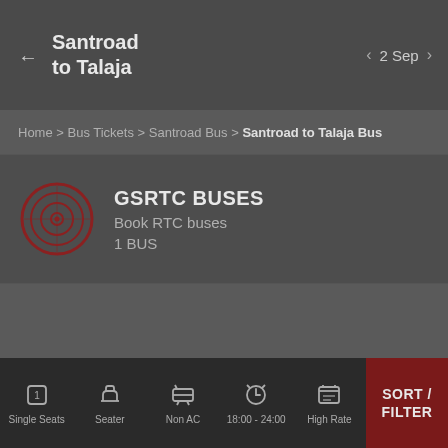Santroad to Talaja | 2 Sep
Home > Bus Tickets > Santroad Bus > Santroad to Talaja Bus
[Figure (logo): GSRTC circular logo with radar/target icon in dark red]
GSRTC BUSES
Book RTC buses
1 BUS
Single Seats | Seater | Non AC | 18:00 - 24:00 | High Rate | SORT / FILTER